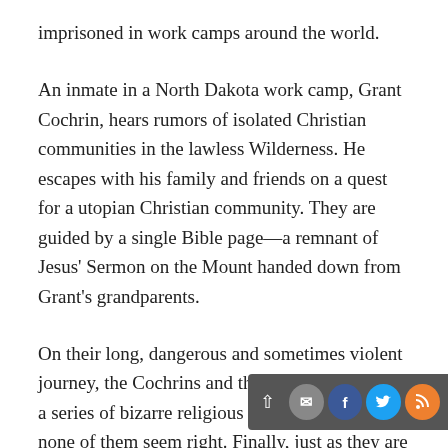imprisoned in work camps around the world.
An inmate in a North Dakota work camp, Grant Cochrin, hears rumors of isolated Christian communities in the lawless Wilderness. He escapes with his family and friends on a quest for a utopian Christian community. They are guided by a single Bible page—a remnant of Jesus' Sermon on the Mount handed down from Grant's grandparents.
On their long, dangerous and sometimes violent journey, the Cochrins and their friends encounter a series of bizarre religious communities, but none of them seem right. Finally, just as they are ready to abort their quest and plant their own community, they are ambushed by a gang of human traffickers. At the last minute, World Federation security forces inexplicably intervene. Expecting imprisonment, Cochrin and his team are stunned to be whisked to the world capital of Carthage, Tunisia, where they are received